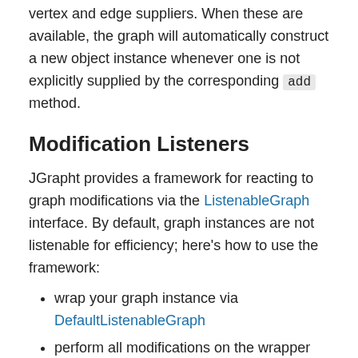vertex and edge suppliers. When these are available, the graph will automatically construct a new object instance whenever one is not explicitly supplied by the corresponding add method.
Modification Listeners
JGrapht provides a framework for reacting to graph modifications via the ListenableGraph interface. By default, graph instances are not listenable for efficiency; here's how to use the framework:
wrap your graph instance via DefaultListenableGraph
perform all modifications on the wrapper (not the underlying graph instance)
register one or more GraphListener to react to modification events
This can be a convenient way to keep other data structures or visualizations in sync with graph changes.